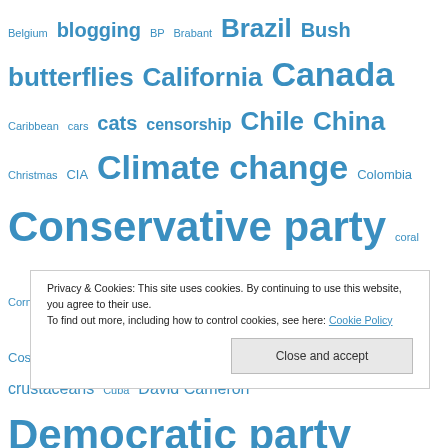Belgium blogging BP Brabant Brazil Bush butterflies California Canada Caribbean cars cats censorship Chile China Christmas CIA Climate change Colombia Conservative party coral Cornell Cornwall coronavirus Costa Rica Cretaceous crocodiles crustaceans Cuba David Cameron Democratic party dinosaurs dolphins Donald Trump dragonflies Drenthe drones ducks eagles Ecuador education Edward Snowden Egypt Egyptology elephants Emmanuel Macron England Ethiopia Europe Guantanamo Hawaii Hillary Clinton history homophobia Honduras
Privacy & Cookies: This site uses cookies. By continuing to use this website, you agree to their use. To find out more, including how to control cookies, see here: Cookie Policy Close and accept